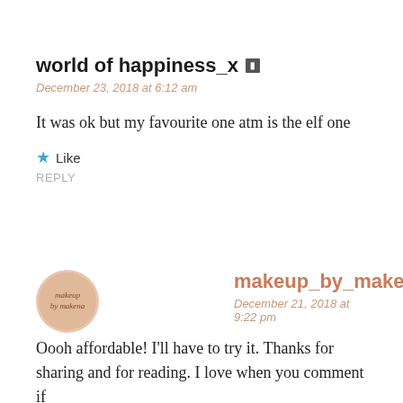world of happiness_x
December 23, 2018 at 6:12 am
It was ok but my favourite one atm is the elf one
Like
REPLY
[Figure (logo): Round avatar/logo for makeup_by_makena with text inside circle]
makeup_by_makena
December 21, 2018 at 9:22 pm
Oooh affordable! I'll have to try it. Thanks for sharing and for reading. I love when you comment if